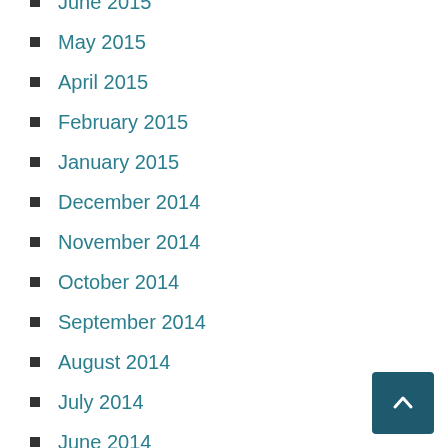June 2015
May 2015
April 2015
February 2015
January 2015
December 2014
November 2014
October 2014
September 2014
August 2014
July 2014
June 2014
May 2014
April 2014
March 2014